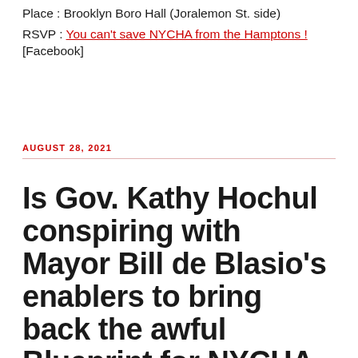Place : Brooklyn Boro Hall (Joralemon St. side)
RSVP : You can't save NYCHA from the Hamptons ! [Facebook]
AUGUST 28, 2021
Is Gov. Kathy Hochul conspiring with Mayor Bill de Blasio's enablers to bring back the awful Blueprint for NYCHA ?